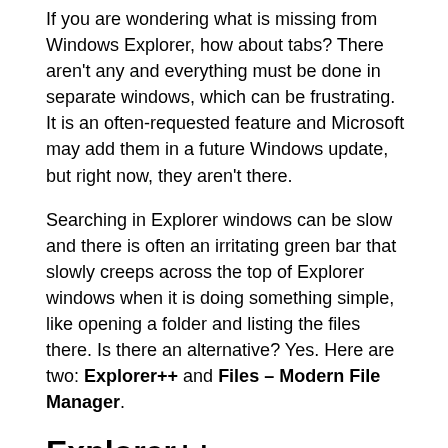If you are wondering what is missing from Windows Explorer, how about tabs? There aren't any and everything must be done in separate windows, which can be frustrating. It is an often-requested feature and Microsoft may add them in a future Windows update, but right now, they aren't there.
Searching in Explorer windows can be slow and there is often an irritating green bar that slowly creeps across the top of Explorer windows when it is doing something simple, like opening a folder and listing the files there. Is there an alternative? Yes. Here are two: Explorer++ and Files – Modern File Manager.
Explorer++
You may find Explorer++ suits you better than the built in Explorer for browsing and organizing files on the disk. It